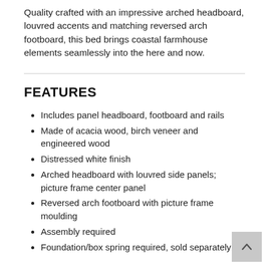Quality crafted with an impressive arched headboard, louvred accents and matching reversed arch footboard, this bed brings coastal farmhouse elements seamlessly into the here and now.
FEATURES
Includes panel headboard, footboard and rails
Made of acacia wood, birch veneer and engineered wood
Distressed white finish
Arched headboard with louvred side panels; picture frame center panel
Reversed arch footboard with picture frame moulding
Assembly required
Foundation/box spring required, sold separately